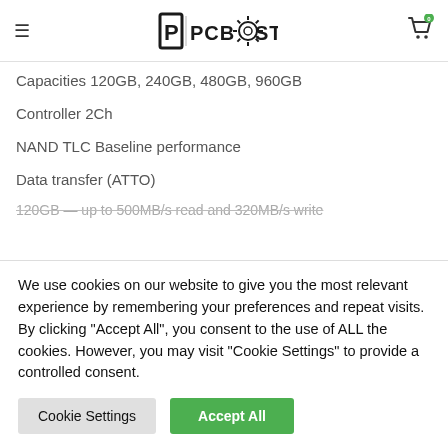PCBoost navigation header with hamburger menu and cart icon (badge: 0)
Capacities 120GB, 240GB, 480GB, 960GB
Controller 2Ch
NAND TLC Baseline performance
Data transfer (ATTO)
120GB — up to 500MB/s read and 320MB/s write
We use cookies on our website to give you the most relevant experience by remembering your preferences and repeat visits. By clicking "Accept All", you consent to the use of ALL the cookies. However, you may visit "Cookie Settings" to provide a controlled consent.